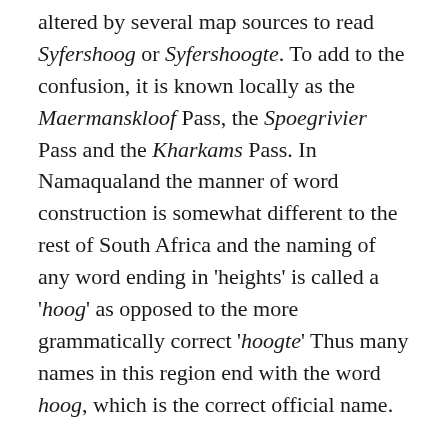altered by several map sources to read Syfershoog or Syfershoogte. To add to the confusion, it is known locally as the Maermanskloof Pass, the Spoegrivier Pass and the Kharkams Pass. In Namaqualand the manner of word construction is somewhat different to the rest of South Africa and the naming of any word ending in 'heights' is called a 'hoog' as opposed to the more grammatically correct 'hoogte' Thus many names in this region end with the word hoog, which is the correct official name.
This pass is long at 16,2 km and contains 38 bends, corners and curves - some of which are very sharp and have negative banking. The road follows a very different vertical profile to the usual classic pass shape and ends in